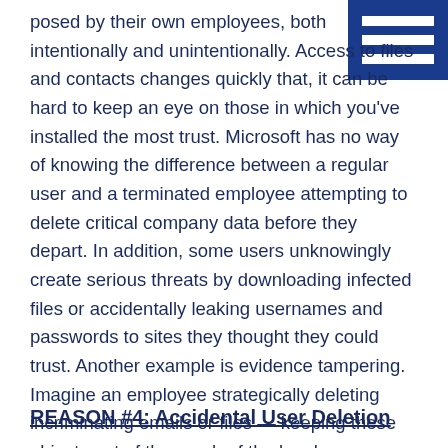posed by their own employees, both intentionally and unintentionally. Access to files and contacts changes quickly that, it can be hard to keep an eye on those in which you've installed the most trust. Microsoft has no way of knowing the difference between a regular user and a terminated employee attempting to delete critical company data before they depart. In addition, some users unknowingly create serious threats by downloading infected files or accidentally leaking usernames and passwords to sites they thought they could trust. Another example is evidence tampering. Imagine an employee strategically deleting incriminating emails or files — keeping these objects out of the reach of the legal, compliance or HR departments.
REASON #4: Accidental User Deletion